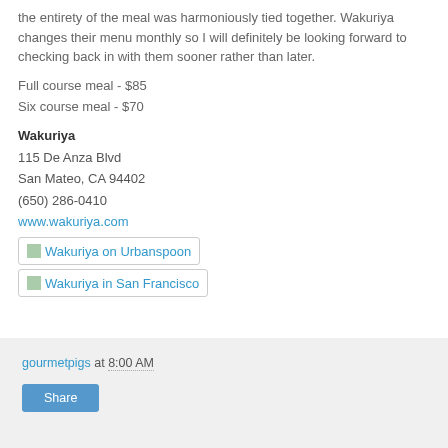the entirety of the meal was harmoniously tied together. Wakuriya changes their menu monthly so I will definitely be looking forward to checking back in with them sooner rather than later.
Full course meal - $85
Six course meal - $70
Wakuriya
115 De Anza Blvd
San Mateo, CA 94402
(650) 286-0410
www.wakuriya.com
[Figure (other): Wakuriya on Urbanspoon badge link]
[Figure (other): Wakuriya in San Francisco badge link]
gourmetpigs at 8:00 AM
Share